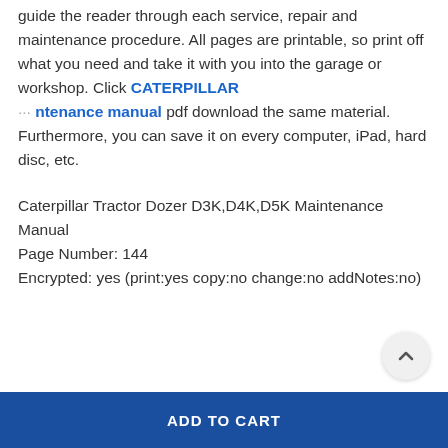guide the reader through each service, repair and maintenance procedure. All pages are printable, so print off what you need and take it with you into the garage or workshop. Click CATERPILLAR ··· ntenance manual pdf download the same material. Furthermore, you can save it on every computer, iPad, hard disc, etc.
Caterpillar Tractor Dozer D3K,D4K,D5K Maintenance Manual
Page Number: 144
Encrypted: yes (print:yes copy:no change:no addNotes:no)
ADD TO CART